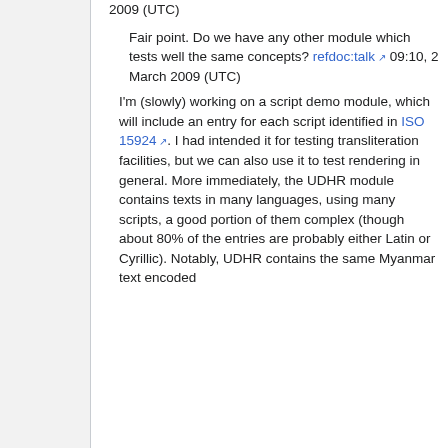2009 (UTC)
Fair point. Do we have any other module which tests well the same concepts? refdoc:talk 09:10, 2 March 2009 (UTC)
I'm (slowly) working on a script demo module, which will include an entry for each script identified in ISO 15924. I had intended it for testing transliteration facilities, but we can also use it to test rendering in general. More immediately, the UDHR module contains texts in many languages, using many scripts, a good portion of them complex (though about 80% of the entries are probably either Latin or Cyrillic). Notably, UDHR contains the same Myanmar text encoded